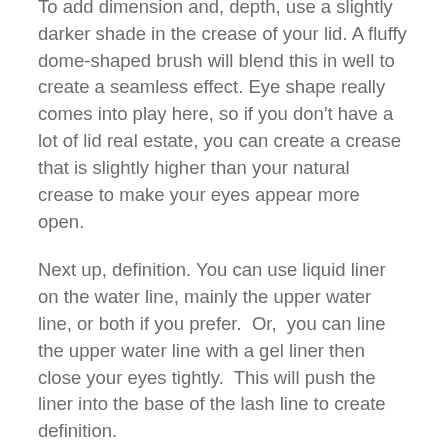To add dimension and, depth, use a slightly darker shade in the crease of your lid. A fluffy dome-shaped brush will blend this in well to create a seamless effect. Eye shape really comes into play here, so if you don't have a lot of lid real estate, you can create a crease that is slightly higher than your natural crease to make your eyes appear more open.
Next up, definition. You can use liquid liner on the water line, mainly the upper water line, or both if you prefer.  Or,  you can line the upper water line with a gel liner then close your eyes tightly.  This will push the liner into the base of the lash line to create definition.
Finally, finish with mascara. You can